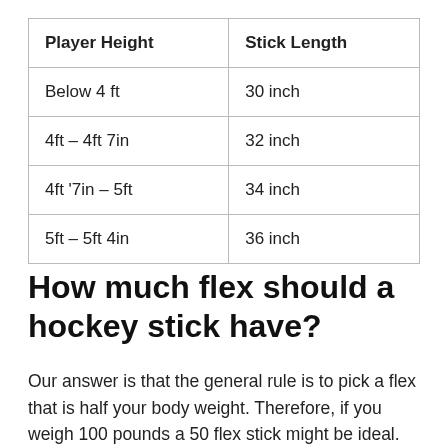| Player Height | Stick Length |
| --- | --- |
| Below 4 ft | 30 inch |
| 4ft – 4ft 7in | 32 inch |
| 4ft '7in – 5ft | 34 inch |
| 5ft – 5ft 4in | 36 inch |
How much flex should a hockey stick have?
Our answer is that the general rule is to pick a flex that is half your body weight. Therefore, if you weigh 100 pounds a 50 flex stick might be ideal. However, when it comes